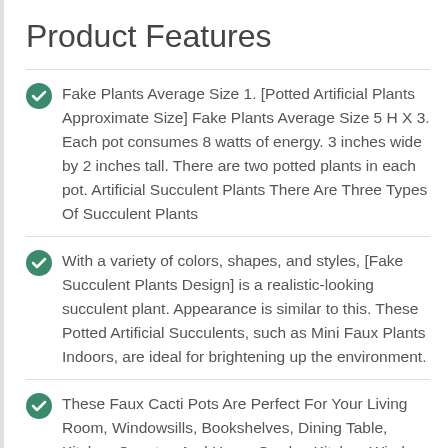Product Features
Fake Plants Average Size 1. [Potted Artificial Plants Approximate Size] Fake Plants Average Size 5 H X 3. Each pot consumes 8 watts of energy. 3 inches wide by 2 inches tall. There are two potted plants in each pot. Artificial Succulent Plants There Are Three Types Of Succulent Plants
With a variety of colors, shapes, and styles, [Fake Succulent Plants Design] is a realistic-looking succulent plant. Appearance is similar to this. These Potted Artificial Succulents, such as Mini Faux Plants Indoors, are ideal for brightening up the environment.
These Faux Cacti Pots Are Perfect For Your Living Room, Windowsills, Bookshelves, Dining Table, Kitchen Counter, And Home Garden Kitchen Window